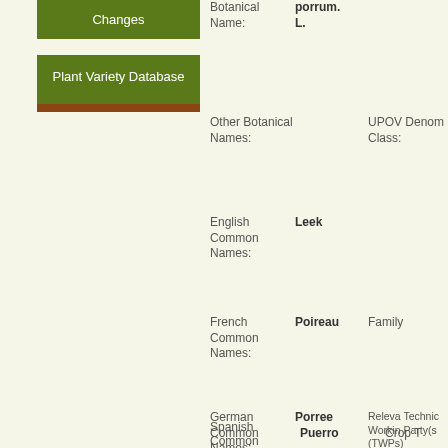Changes
Plant Variety Database
Botanical Name:
porrum. L.
Other Botanical Names:
UPOV Denomination Class:
English Common Names:
Leek
French Common Names:
Poireau
Family
German Common Names:
Porree
Relevant Technical Working Party(s) (TWPs):
Spanish Common
Puerro
Crop T